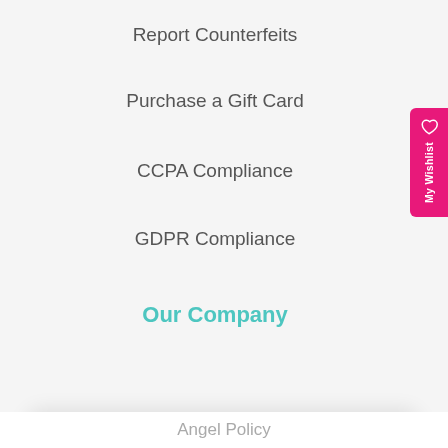Report Counterfeits
Purchase a Gift Card
CCPA Compliance
GDPR Compliance
Our Company
[Figure (screenshot): Wishlist tab on right side: pink vertical tab with heart icon and 'My Wishlist' text rotated vertically]
[Figure (screenshot): Modal popup with sparkle icon, title 'Unlock exclusive rewards and perks', subtitle 'Sign up or Log in', teal Sign up button, and 'Already have an account? Sign in' link]
Sign up or Log in
Already have an account? Sign in
Angel Policy